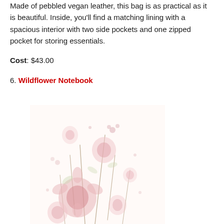Made of pebbled vegan leather, this bag is as practical as it is beautiful. Inside, you'll find a matching lining with a spacious interior with two side pockets and one zipped pocket for storing essentials.
Cost: $43.00
6. Wildflower Notebook
[Figure (photo): A softly colored illustration of wildflowers in pink and blush tones on a white background, appearing to be the cover of the Wildflower Notebook.]